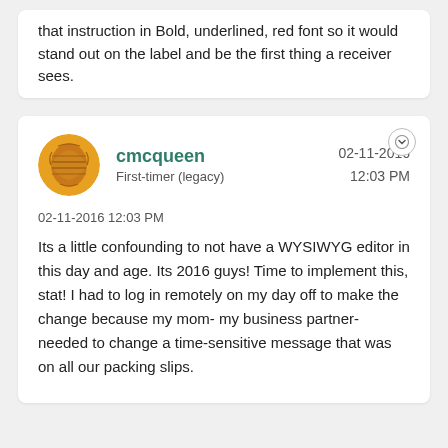that instruction in Bold, underlined, red font so it would stand out on the label and be the first thing a receiver sees.
cmcqueen
First-timer (legacy)
02-11-2016 12:03 PM
02-11-2016 12:03 PM
Its a little confounding to not have a WYSIWYG editor in this day and age. Its 2016 guys! Time to implement this, stat! I had to log in remotely on my day off to make the change because my mom- my business partner- needed to change a time-sensitive message that was on all our packing slips.